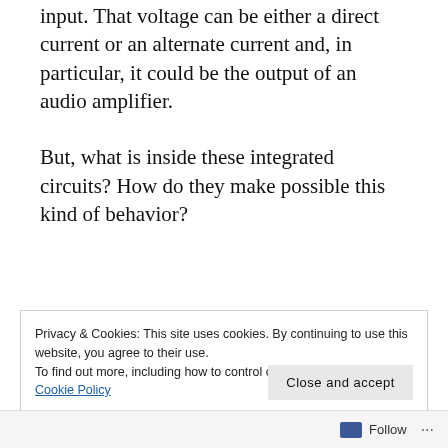input. That voltage can be either a direct current or an alternate current and, in particular, it could be the output of an audio amplifier.
But, what is inside these integrated circuits? How do they make possible this kind of behavior?
Privacy & Cookies: This site uses cookies. By continuing to use this website, you agree to their use.
To find out more, including how to control cookies, see here: Cookie Policy
Close and accept
Follow